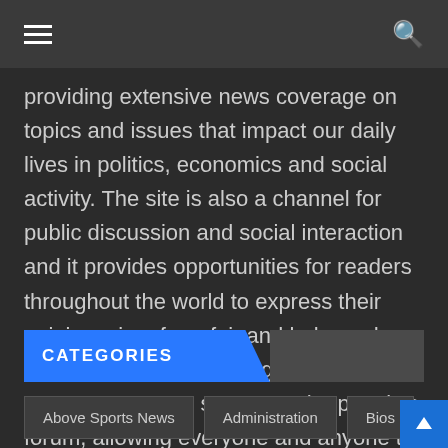≡  🔍
providing extensive news coverage on topics and issues that impact our daily lives in politics, economics and social activity. The site is also a channel for public discussion and social interaction and it provides opportunities for readers throughout the world to express their opinions, in a free, fair and balanced manner. As the name suggests, MyVueNews.com serves as the people's forum, allowing everyone and anyone to express their views about any subject of importance to them.
CATEGORIES
Above Sports News
Administration
Bios
Business
Caribbean
Caribbean News